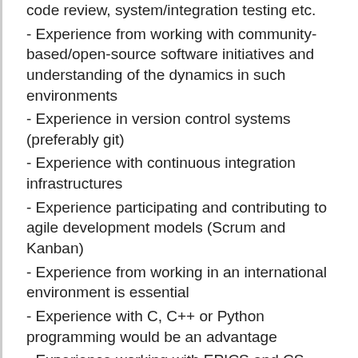code review, system/integration testing etc.
- Experience from working with community-based/open-source software initiatives and understanding of the dynamics in such environments
- Experience in version control systems (preferably git)
- Experience with continuous integration infrastructures
- Experience participating and contributing to agile development models (Scrum and Kanban)
- Experience from working in an international environment is essential
- Experience with C, C++ or Python programming would be an advantage
- Experience working with EPICS and CS-Studio Phoebus would be an advantage.
To be successful and perform well in this position